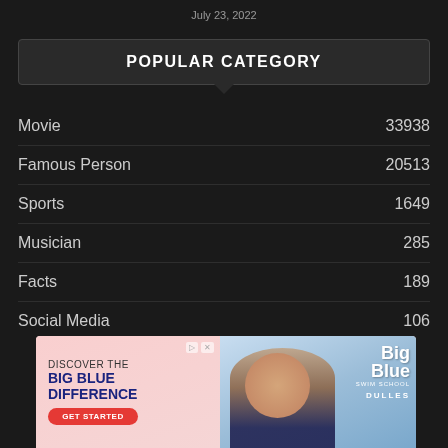July 23, 2022
POPULAR CATEGORY
Movie  33938
Famous Person  20513
Sports  1649
Musician  285
Facts  189
Social Media  106
[Figure (other): Advertisement for Big Blue Swim School - Dulles location. Pink/blue background with smiling child. Text: DISCOVER THE BIG BLUE DIFFERENCE, GET STARTED button.]